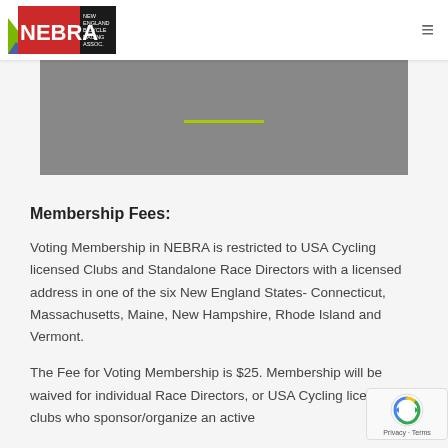NEBRA - New England Bicycle Racing Association
[Figure (other): Gray hero banner with a green horizontal line accent]
Membership Fees:
Voting Membership in NEBRA is restricted to USA Cycling licensed Clubs and Standalone Race Directors with a licensed address in one of the six New England States- Connecticut, Massachusetts, Maine, New Hampshire, Rhode Island and Vermont.
The Fee for Voting Membership is $25. Membership will be waived for individual Race Directors, or USA Cycling licensed clubs who sponsor/organize an active